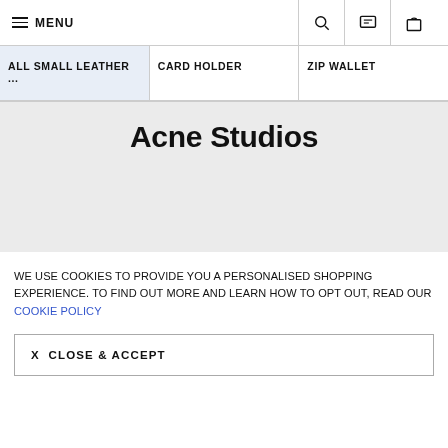MENU
ALL SMALL LEATHER ...   CARD HOLDER   ZIP WALLET
Acne Studios
WE USE COOKIES TO PROVIDE YOU A PERSONALISED SHOPPING EXPERIENCE. TO FIND OUT MORE AND LEARN HOW TO OPT OUT, READ OUR COOKIE POLICY
X  CLOSE & ACCEPT